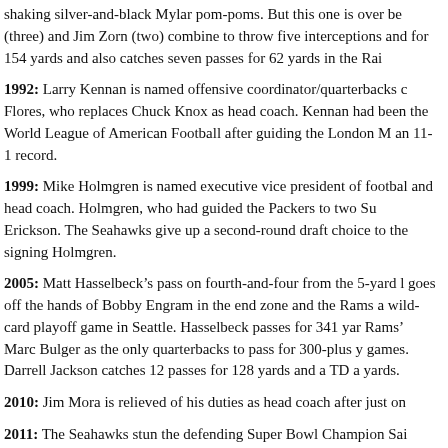shaking silver-and-black Mylar pom-poms. But this one is over be(three) and Jim Zorn (two) combine to throw five interceptions andfor 154 yards and also catches seven passes for 62 yards in the Rai
1992: Larry Kennan is named offensive coordinator/quarterbacks cFlores, who replaces Chuck Knox as head coach. Kennan had been the World League of American Football after guiding the London Man 11-1 record.
1999: Mike Holmgren is named executive vice president of footbaland head coach. Holmgren, who had guided the Packers to two SupErickson. The Seahawks give up a second-round draft choice to thesigning Holmgren.
2005: Matt Hasselbeck’s pass on fourth-and-four from the 5-yard lgoes off the hands of Bobby Engram in the end zone and the Ramsa wild-card playoff game in Seattle. Hasselbeck passes for 341 yarRams’ Marc Bulger as the only quarterbacks to pass for 300-plus ygames. Darrell Jackson catches 12 passes for 128 yards and a TD ayards.
2010: Jim Mora is relieved of his duties as head coach after just on
2011: The Seahawks stun the defending Super Bowl Champion SaiCard playoff game in Seattle, as Matt Hasselbeck passes for four toLynch ices the victory with an electrifying 67-yard touchdown witheight tackles, tosses Tracy Porter five-yards with a stiff-arm, and th